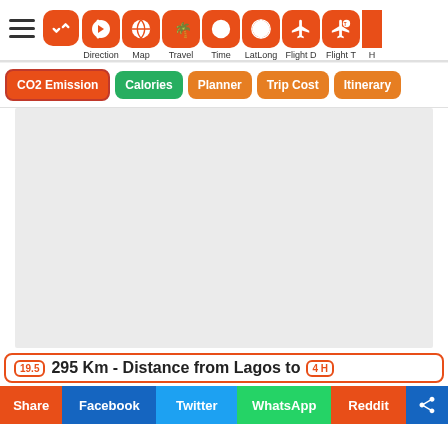[Figure (screenshot): Navigation toolbar with icons: hamburger menu, swap, Direction, Map, Travel, Time, LatLong, Flight D, Flight T, and more (cropped)]
[Figure (screenshot): Tab buttons row: CO2 Emission (red), Calories (green), Planner (orange), Trip Cost (orange), Itinerary (orange)]
[Figure (screenshot): Map placeholder area - light grey rectangle representing a map]
19.5    295 Km - Distance from Lagos to    4 H
[Figure (screenshot): Share bar with buttons: Share, Facebook, Twitter, WhatsApp, Reddit, and a share icon button]